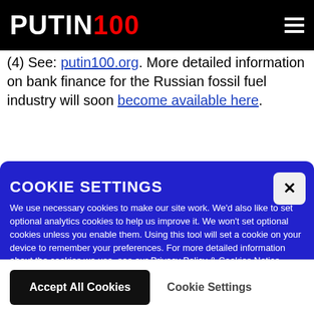PUTIN100
(4) See: putin100.org. More detailed information on bank finance for the Russian fossil fuel industry will soon become available here.
COOKIE SETTINGS
We use necessary cookies to make our site work. We'd also like to set optional analytics cookies to help us improve it. We won't set optional cookies unless you enable them. Using this tool will set a cookie on your device to remember your preferences. For more detailed information about the cookies we use, see our Privacy Policy & Cookies Notice
Accept All Cookies    Cookie Settings